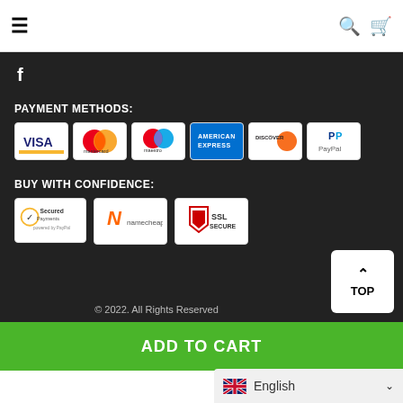Navigation bar with hamburger menu, search icon, and cart icon
[Figure (logo): Facebook 'f' icon in white on dark background]
PAYMENT METHODS:
[Figure (infographic): Payment method logos: Visa, Mastercard, Maestro, American Express, Discover, PayPal]
BUY WITH CONFIDENCE:
[Figure (infographic): Trust badges: Secured (PayPal), Namecheap, SSL Secure]
© 2022. All Rights Reserved
TOP
ADD TO CART
English